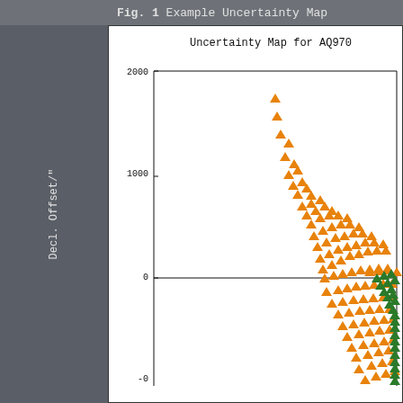Fig. 1 Example Uncertainty Map
[Figure (scatter-plot): Scatter plot showing uncertainty map with orange triangle markers and green triangle markers. Y-axis shows Decl. Offset in arcseconds ranging from about -500 to 2000, with tick marks at 0, 1000, 2000. Orange triangles form a curved distribution pattern, dense at lower right. Green triangles cluster at the right edge near y=0.]